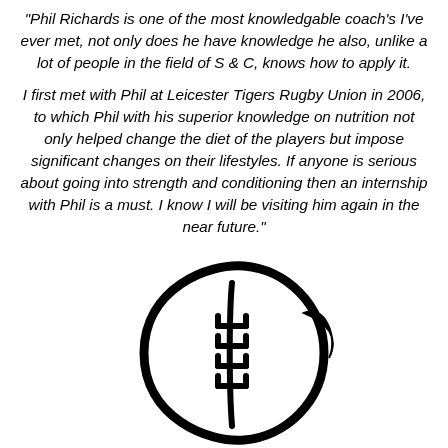“Phil Richards is one of the most knowledgable coach’s I’ve ever met, not only does he have knowledge he also, unlike a lot of people in the field of S & C, knows how to apply it.

I first met with Phil at Leicester Tigers Rugby Union in 2006, to which Phil with his superior knowledge on nutrition not only helped change the diet of the players but impose significant changes on their lifestyles. If anyone is serious about going into strength and conditioning then an internship with Phil is a must. I know I will be visiting him again in the near future.”
[Figure (illustration): Black and white hand-drawn style illustration of an American football]